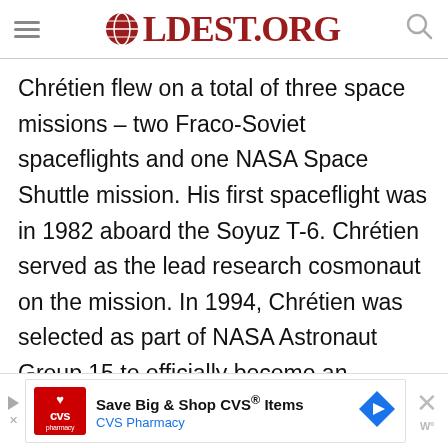OLDEST.ORG
Chrétien flew on a total of three space missions – two Fraco-Soviet spaceflights and one NASA Space Shuttle mission. His first spaceflight was in 1982 aboard the Soyuz T-6. Chrétien served as the lead research cosmonaut on the mission. In 1994, Chrétien was selected as part of NASA Astronaut Group 15 to officially become an International Mission Specialist with NASA. His last flight took place in 1997, at the age of 59, as crew member of the STS-86 mission aboard the Sp
[Figure (other): CVS Pharmacy advertisement banner: Save Big & Shop CVS® Items, CVS Pharmacy, with CVS logo, navigation arrow, close button and weather widget icon]